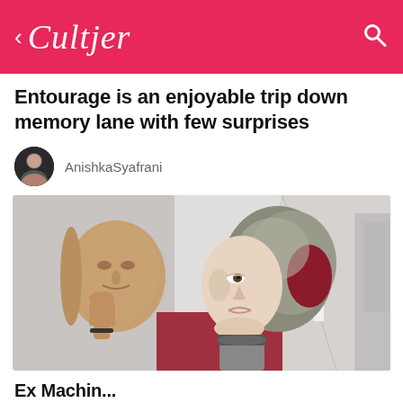< Cultjer  🔍
Entourage is an enjoyable trip down memory lane with few surprises
AnishkaSyafrani
[Figure (photo): Scene from Ex Machina showing a humanoid robot holding a face mask in a futuristic corridor]
Ex Machin...